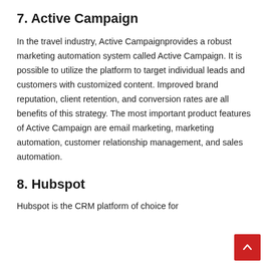7. Active Campaign
In the travel industry, Active Campaignprovides a robust marketing automation system called Active Campaign. It is possible to utilize the platform to target individual leads and customers with customized content. Improved brand reputation, client retention, and conversion rates are all benefits of this strategy. The most important product features of Active Campaign are email marketing, marketing automation, customer relationship management, and sales automation.
8. Hubspot
Hubspot is the CRM platform of choice for